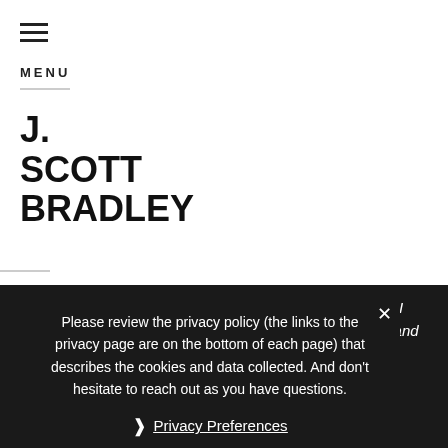☰ MENU
J. SCOTT BRADLEY
take a bow and come to a close. But… well… I admi... … I use for what I believe to be a challenge to purchases … and it is to take the trust leap with me. I had two hunches I bantered about on how the … would come to a definitive close (And d… skepticism, I was
Please review the privacy policy (the links to the privacy page are on the bottom of each page) that describes the cookies and data collected. And don't hesitate to reach out as you have questions.
❯ Privacy Preferences
I Agree